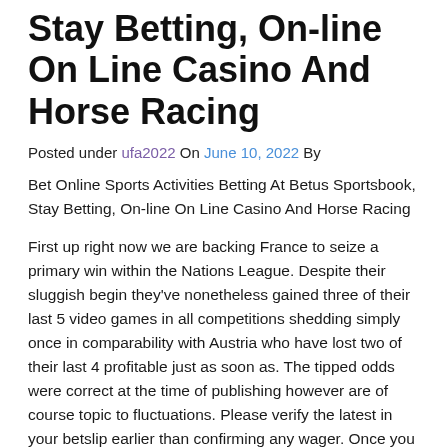Stay Betting, On-line On Line Casino And Horse Racing
Posted under ufa2022 On June 10, 2022 By
Bet Online Sports Activities Betting At Betus Sportsbook, Stay Betting, On-line On Line Casino And Horse Racing
First up right now we are backing France to seize a primary win within the Nations League. Despite their sluggish begin they've nonetheless gained three of their last 5 video games in all competitions shedding simply once in comparability with Austria who have lost two of their last 4 profitable just as soon as. The tipped odds were correct at the time of publishing however are of course topic to fluctuations. Please verify the latest in your betslip earlier than confirming any wager. Once you register